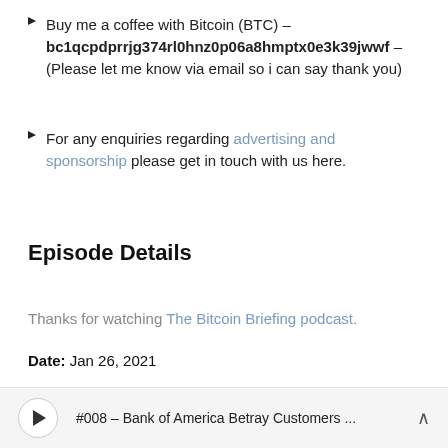Buy me a coffee with Bitcoin (BTC) – bc1qcpdprrjg374rl0hnz0p06a8hmptx0e3k39jwwf – (Please let me know via email so i can say thank you)
For any enquiries regarding advertising and sponsorship please get in touch with us here.
Episode Details
Thanks for watching The Bitcoin Briefing podcast.
Date: Jan 26, 2021
#008 – Bank of America Betray Customers ...